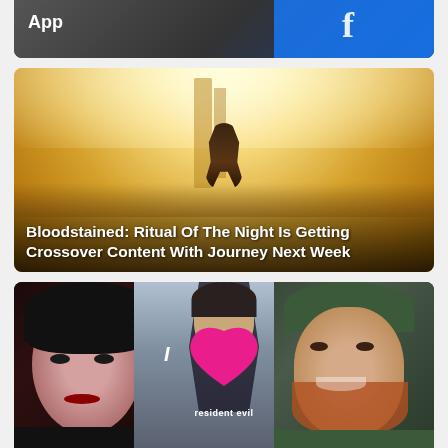[Figure (screenshot): Top portion of a screenshot showing the word 'App' in white text overlaid on a dark image with a Facebook logo partially visible on the right]
[Figure (screenshot): Game screenshot from Bloodstained: Ritual of the Night showing a desert/sandy landscape with a figure jumping, with warm golden/orange tones. White bold text overlay reads: 'Bloodstained: Ritual Of The Night Is Getting Crossover Content With Journey Next Week']
Bloodstained: Ritual Of The Night Is Getting Crossover Content With Journey Next Week
[Figure (photo): Photo showing a woman with black hair and bangs on the left, Resident Evil 4 game art in the center with a pink heart and text 'I [heart] resident evil', and a man with red beard on the right]